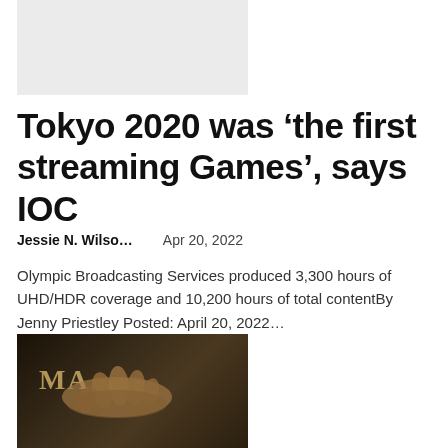[Figure (photo): Light gray placeholder image at top of article]
Tokyo 2020 was ‘the first streaming Games’, says IOC
Jessie N. Wilso...    Apr 20, 2022
Olympic Broadcasting Services produced 3,300 hours of UHD/HDR coverage and 10,200 hours of total contentBy Jenny Priestley Posted: April 20, 2022...
[Figure (photo): Dark photo showing a hand with tattoos resting on what appears to be a magazine with letters 'MA' visible]